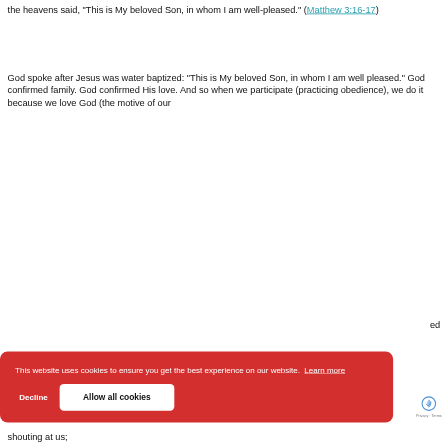the heavens said, "This is My beloved Son, in whom I am well-pleased." (Matthew 3:16-17)
God spoke after Jesus was water baptized: "This is My beloved Son, in whom I am well pleased." God confirmed family. God confirmed His love. And so when we participate (practicing obedience), we do it because we love God (the motive of our
ed
shouting at us;
[Figure (screenshot): Cookie consent banner with red background reading 'This website uses cookies to ensure you get the best experience on our website. Learn more' with Decline and Allow all cookies buttons, and a reCAPTCHA badge.]